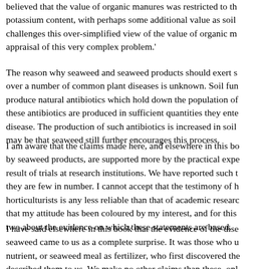believed that the value of organic manures was restricted to their potassium content, with perhaps some additional value as soil challenges this over-simplified view of the value of organic m appraisal of this very complex problem.'
The reason why seaweed and seaweed products should exert s over a number of common plant diseases is unknown. Soil fun produce natural antibiotics which hold down the population of these antibiotics are produced in sufficient quantities they ente disease. The production of such antibiotics is increased in soil may be that seaweed still further encourages this process.
I am aware that the claims made here, and elsewhere in this bo by seaweed products, are supported more by the practical expe result of trials at research institutions. We have reported such t they are few in number. I cannot accept that the testimony of h horticulturists is any less reliable than that of academic researc that my attitude has been coloured by my interest, and for this two about the evidence on which these statements are based.
I have said elsewhere in this book that the evidence of the dise seaweed came to us as a complete surprise. It was those who u nutrient, or seaweed meal as fertilizer, who first discovered the described them to us. We make no other claims than these, onl would be a poor service to truth to censor this evidence of the